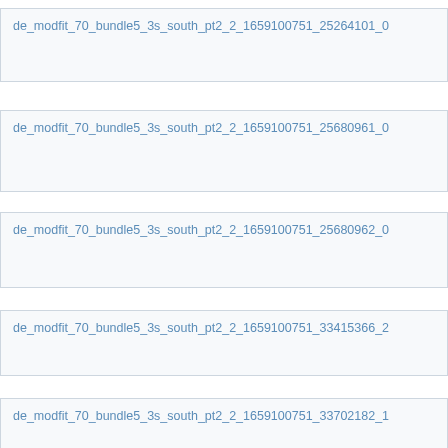de_modfit_70_bundle5_3s_south_pt2_2_1659100751_25264101_0
de_modfit_70_bundle5_3s_south_pt2_2_1659100751_25680961_0
de_modfit_70_bundle5_3s_south_pt2_2_1659100751_25680962_0
de_modfit_70_bundle5_3s_south_pt2_2_1659100751_33415366_2
de_modfit_70_bundle5_3s_south_pt2_2_1659100751_33702182_1